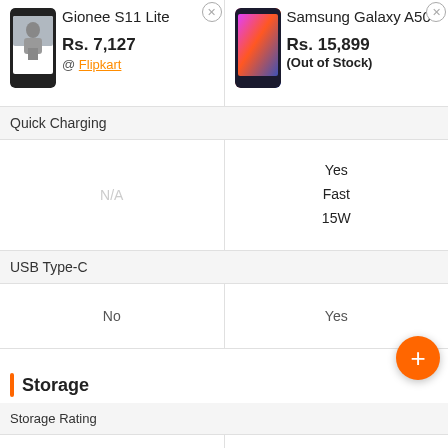| Gionee S11 Lite | Samsung Galaxy A50 |
| --- | --- |
| Rs. 7,127 @ Flipkart | Rs. 15,899 (Out of Stock) |
| Quick Charging | Quick Charging |
| N/A | Yes
Fast
15W |
| USB Type-C | USB Type-C |
| No | Yes |
Storage
| Storage Rating |  |
| --- | --- |
| Best In Class | Best In Class |
| Internal Memory | Internal Memory |